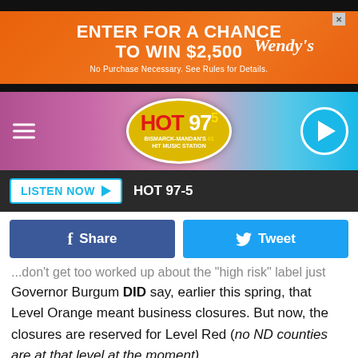[Figure (other): Wendy's advertisement banner: orange background with text 'ENTER FOR A CHANCE TO WIN $2,500' and Wendy's logo, with 'No Purchase Necessary. See Rules for Details.']
[Figure (other): HOT 97.5 radio station header bar with hamburger menu, HOT 97.5 logo (Bismarck-Mandan's #1 Hit Music Station), and play button]
[Figure (other): Listen Now button bar with 'LISTEN NOW ▶' button and 'HOT 97-5' station name on dark background]
[Figure (other): Facebook Share button and Twitter Tweet button side by side]
...don't get too worked up about the 'high risk' label just yet. Governor Burgum DID say, earlier this spring, that Level Orange meant business closures. But now, the closures are reserved for Level Red (no ND counties are at that level at the moment).
So, what will this risk level shift mean for these sixteen counties? The governor said that, starting Friday at 5:00 PM, businesses operating in these counties should be at
Businesses - 25% capacity not to exceed 50